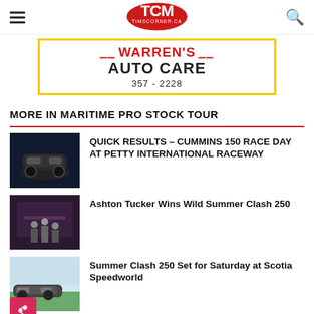TCM TIMSCORNER.CA
[Figure (logo): TCM Timscorner.ca logo in red and black oval shape]
[Figure (infographic): Warren's Auto Care advertisement banner with yellow border, phone number 357-2228]
MORE IN MARITIME PRO STOCK TOUR
[Figure (photo): Race car on dark track at night]
QUICK RESULTS – CUMMINS 150 RACE DAY AT PETTY INTERNATIONAL RACEWAY
[Figure (photo): People standing at racing event podium area]
Ashton Tucker Wins Wild Summer Clash 250
[Figure (photo): Race car on track outdoors daytime]
Summer Clash 250 Set for Saturday at Scotia Speedworld